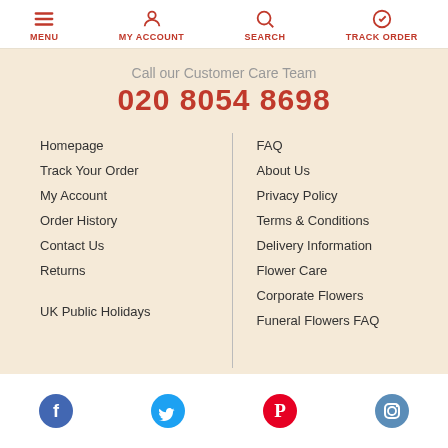MENU | MY ACCOUNT | SEARCH | TRACK ORDER
Call our Customer Care Team
020 8054 8698
Homepage
Track Your Order
My Account
Order History
Contact Us
Returns
UK Public Holidays
FAQ
About Us
Privacy Policy
Terms & Conditions
Delivery Information
Flower Care
Corporate Flowers
Funeral Flowers FAQ
Social media icons: Facebook, Twitter, Pinterest, Instagram